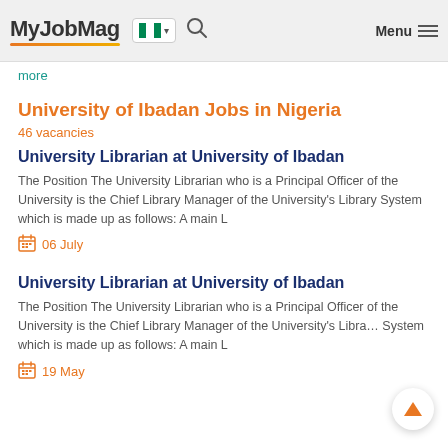MyJobMag [Nigeria flag] Menu
more
University of Ibadan Jobs in Nigeria
46 vacancies
University Librarian at University of Ibadan
The Position The University Librarian who is a Principal Officer of the University is the Chief Library Manager of the University's Library System which is made up as follows: A main L
06 July
University Librarian at University of Ibadan
The Position The University Librarian who is a Principal Officer of the University is the Chief Library Manager of the University's Library System which is made up as follows: A main L
19 May